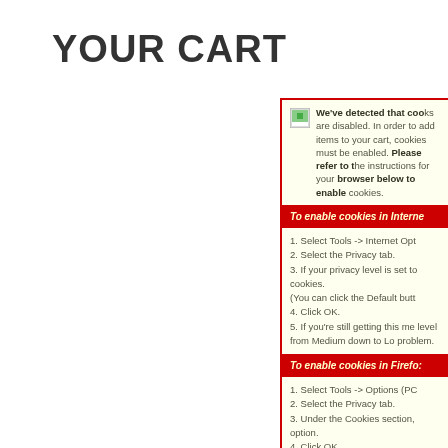YOUR CART
We've detected that cookies are disabled. In order to add items to your cart, cookies must be enabled. Please refer to the instructions for your browser below to enable cookies.
To enable cookies in Internet Explorer:
1. Select Tools -> Internet Options.
2. Select the Privacy tab.
3. If your privacy level is set to High, it will block cookies. (You can click the Default button to reset it.)
4. Click OK.
5. If you're still getting this message, try setting the privacy level from Medium down to Low to resolve the problem.
To enable cookies in Firefox:
1. Select Tools -> Options (PC) or Firefox -> Preferences (Mac).
2. Select the Privacy tab.
3. Under the Cookies section, make sure to check the Allow option.
4. Click OK.